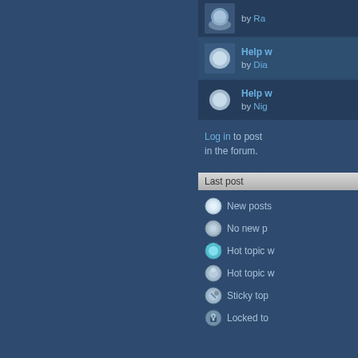[Figure (screenshot): Forum post item with avatar icon, showing 'by Ra...' link text]
[Figure (screenshot): Forum post item with avatar icon, 'Help w...' title and 'by Dia...' link]
[Figure (screenshot): Forum post item with avatar icon, 'Help w...' title and 'by Nig...' link]
Log in to post in the forum.
Last post
New posts
No new p...
Hot topic w...
Hot topic w...
Sticky top...
Locked to...